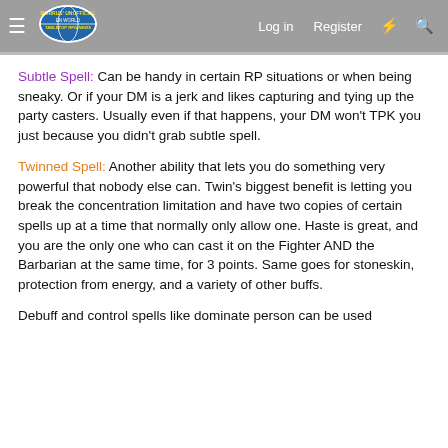Morrus' Unofficial Tabletop RPG News — Log in | Register
Subtle Spell: Can be handy in certain RP situations or when being sneaky. Or if your DM is a jerk and likes capturing and tying up the party casters. Usually even if that happens, your DM won't TPK you just because you didn't grab subtle spell.
Twinned Spell: Another ability that lets you do something very powerful that nobody else can. Twin's biggest benefit is letting you break the concentration limitation and have two copies of certain spells up at a time that normally only allow one. Haste is great, and you are the only one who can cast it on the Fighter AND the Barbarian at the same time, for 3 points. Same goes for stoneskin, protection from energy, and a variety of other buffs.
Debuff and control spells like dominate person can be used